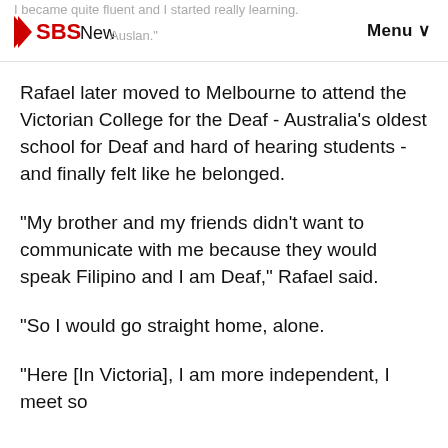I became quite fluent and I started really learning. SBS News Auslan. Menu
Rafael later moved to Melbourne to attend the Victorian College for the Deaf - Australia's oldest school for Deaf and hard of hearing students - and finally felt like he belonged.
“My brother and my friends didn't want to communicate with me because they would speak Filipino and I am Deaf,” Rafael said.
"So I would go straight home, alone.
"Here [In Victoria], I am more independent, I meet so